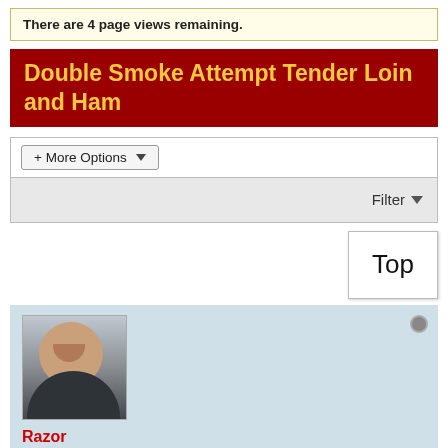There are 4 page views remaining.
Double Smoke Attempt Tender Loin and Ham
+ More Options
Filter
Top
[Figure (photo): Avatar/profile photo of a man smiling, wearing a dark jacket, outdoor background]
Razor